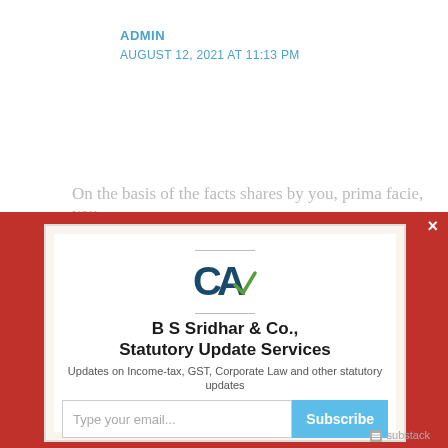ADMIN
AUGUST 12, 2021 AT 11:13 PM
On the basis of the facts shares by you, prima facie, you
[Figure (screenshot): Subscription modal popup for B S Sridhar & Co., Statutory Update Services with CA logo, email input field and Subscribe button, on a red background]
B S Sridhar & Co., Statutory Update Services
Updates on Income-tax, GST, Corporate Law and other statutory updates